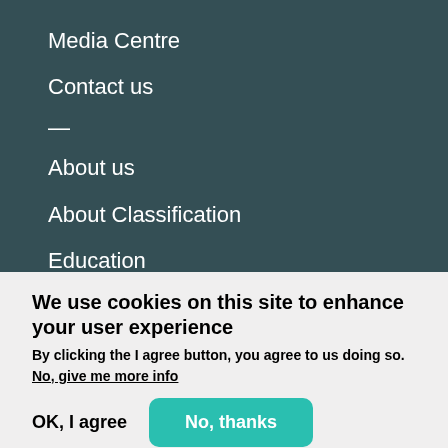Media Centre
Contact us
—
About us
About Classification
Education
We use cookies on this site to enhance your user experience
By clicking the I agree button, you agree to us doing so.
No, give me more info
OK, I agree   No, thanks